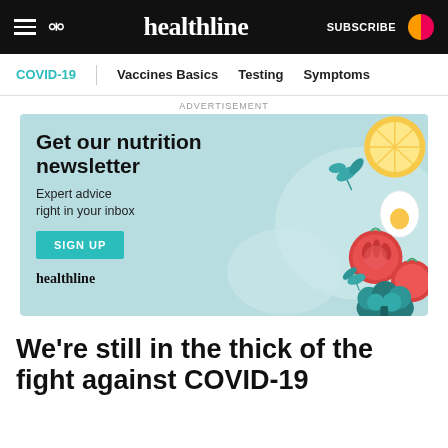healthline | SUBSCRIBE
COVID-19 | Vaccines Basics | Testing | Symptoms
ADVERTISEMENT
[Figure (illustration): Healthline nutrition newsletter advertisement banner with illustrated vegetables (tomatoes, broccoli, egg, lemon, arugula), headline 'Get our nutrition newsletter', subtext 'Expert advice right in your inbox', a teal SIGN UP button, and the Healthline logo.]
We're still in the thick of the fight against COVID-19